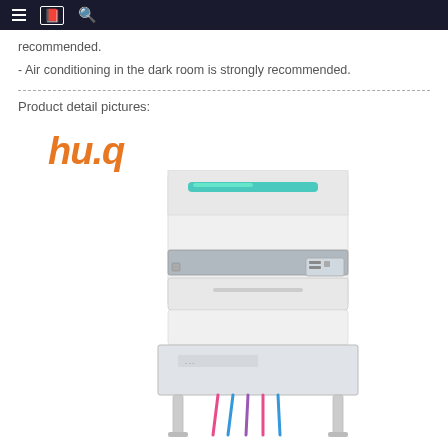Navigation bar with menu, bookmark, and search icons
recommended.
- Air conditioning in the dark room is strongly recommended.
[Figure (photo): Product detail pictures section showing the hu.q brand logo in orange italic font and a photo of a white industrial film/X-ray processor machine on a metal stand with colorful cables at the bottom]
Product detail pictures: